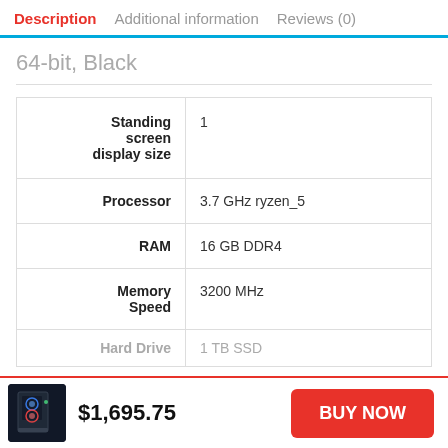Description  Additional information  Reviews (0)
64-bit, Black
| Attribute | Value |
| --- | --- |
| Standing screen display size | 1 |
| Processor | 3.7 GHz ryzen_5 |
| RAM | 16 GB DDR4 |
| Memory Speed | 3200 MHz |
| Hard Drive | 1 TB SSD |
$1,695.75
BUY NOW